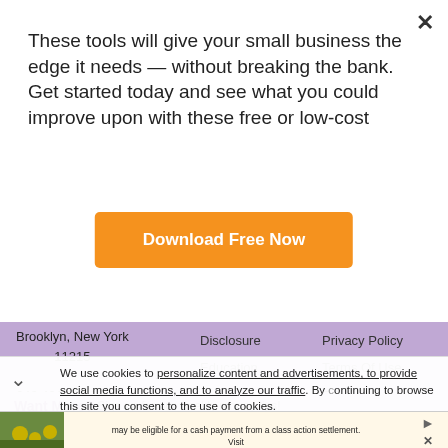These tools will give your small business the edge it needs — without breaking the bank. Get started today and see what you could improve upon with these free or low-cost
Download Free Now
Brooklyn, New York 11215
646.491.2254
Disclosure
Education
Privacy Policy
Terms Of Use
Subscription Agreement
Want More? Sign up for our weekly money tips!
Email
Subscribe
We use cookies to personalize content and advertisements, to provide social media functions, and to analyze our traffic. By continuing to browse this site you consent to the use of cookies.
Purchasers of certain Roundup®, HDX®, or Ace® brand weed killer products may be eligible for a cash payment from a class action settlement. Visit www.WeedKillerAdSettlement.com to learn more.